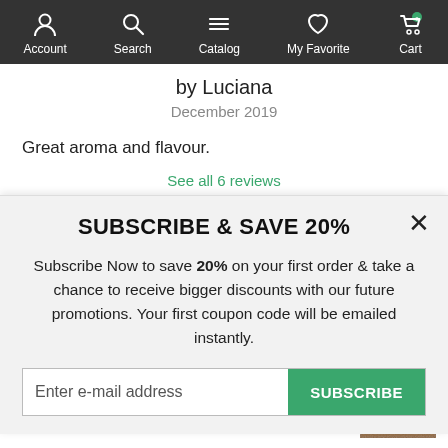Account | Search | Catalog | My Favorite | Cart
by Luciana
December 2019
Great aroma and flavour.
See all 6 reviews
SUBSCRIBE & SAVE 20%
Subscribe Now to save 20% on your first order & take a chance to receive bigger discounts with our future promotions. Your first coupon code will be emailed instantly.
Enter e-mail address | SUBSCRIBE
sweetness with subtle vanilla flavor